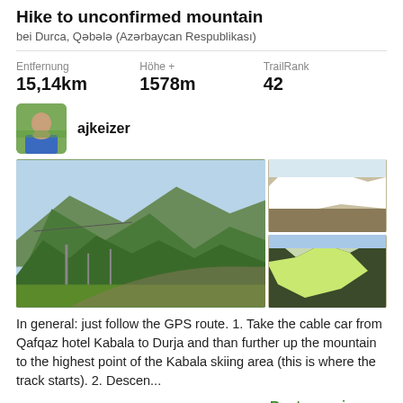Hike to unconfirmed mountain
bei Durca, Qəbələ (Azərbaycan Respublikası)
| Entfernung | Höhe + | TrailRank |
| --- | --- | --- |
| 15,14km | 1578m | 42 |
ajkeizer
[Figure (photo): Mountain landscape with green forested slopes and a valley; two smaller photos stacked on right showing snow on a hillside and sunlit green mountain slope]
In general: just follow the GPS route. 1. Take the cable car from Qafqaz hotel Kabala to Durja and than further up the mountain to the highest point of the Kabala skiing area (this is where the track starts). 2. Descen...
Route anzeigen →